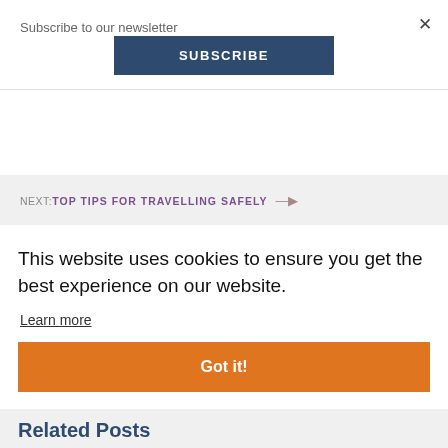Subscribe to our newsletter
SUBSCRIBE
×
NEXT: TOP TIPS FOR TRAVELLING SAFELY →
This website uses cookies to ensure you get the best experience on our website.
Learn more
Got it!
Related Posts